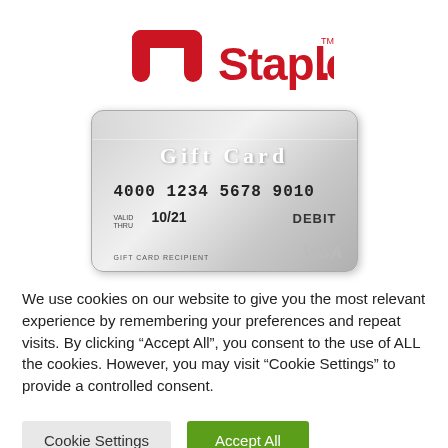[Figure (logo): Staples logo in red with the staple bracket icon and 'Staples.' wordmark with TM symbol]
[Figure (illustration): Silver Visa gift card showing number 4000 1234 5678 9010, valid thru 10/21, DEBIT, GIFT CARD RECIPIENT, VISA logo]
We use cookies on our website to give you the most relevant experience by remembering your preferences and repeat visits. By clicking “Accept All”, you consent to the use of ALL the cookies. However, you may visit "Cookie Settings" to provide a controlled consent.
Cookie Settings
Accept All